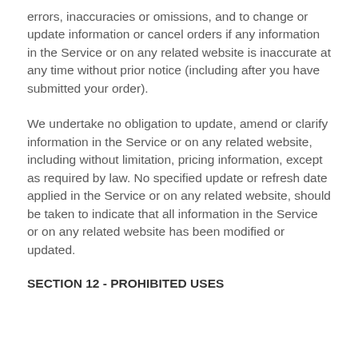errors, inaccuracies or omissions, and to change or update information or cancel orders if any information in the Service or on any related website is inaccurate at any time without prior notice (including after you have submitted your order).
We undertake no obligation to update, amend or clarify information in the Service or on any related website, including without limitation, pricing information, except as required by law. No specified update or refresh date applied in the Service or on any related website, should be taken to indicate that all information in the Service or on any related website has been modified or updated.
SECTION 12 - PROHIBITED USES